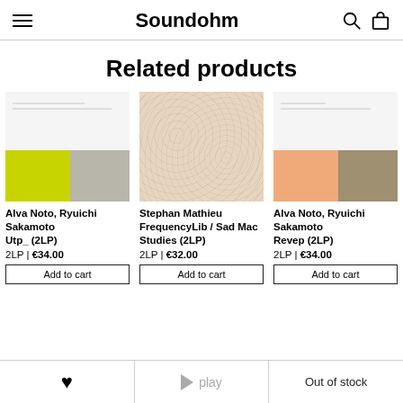Soundohm
Related products
[Figure (photo): Album cover for Alva Noto, Ryuichi Sakamoto - Utp_ (2LP): white top half with small text, bottom half split yellow-green left and gray right]
Alva Noto, Ryuichi Sakamoto
Utp_ (2LP)
2LP | €34.00
Add to cart
[Figure (photo): Album cover for Stephan Mathieu FrequencyLib / Sad Mac Studies (2LP): sandy/beige textured surface]
Stephan Mathieu FrequencyLib / Sad Mac Studies (2LP)
2LP | €32.00
Add to cart
[Figure (photo): Album cover for Alva Noto, Ryuichi Sakamoto - Revep (2LP): white top half with small text, bottom half split peach/orange left and tan/khaki right]
Alva Noto, Ryuichi Sakamoto
Revep (2LP)
2LP | €34.00
Add to cart
♥ | play | Out of stock